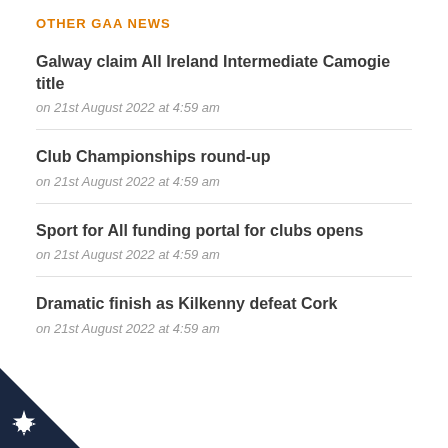OTHER GAA NEWS
Galway claim All Ireland Intermediate Camogie title
on 21st August 2022 at 4:59 am
Club Championships round-up
on 21st August 2022 at 4:59 am
Sport for All funding portal for clubs opens
on 21st August 2022 at 4:59 am
Dramatic finish as Kilkenny defeat Cork
on 21st August 2022 at 4:59 am